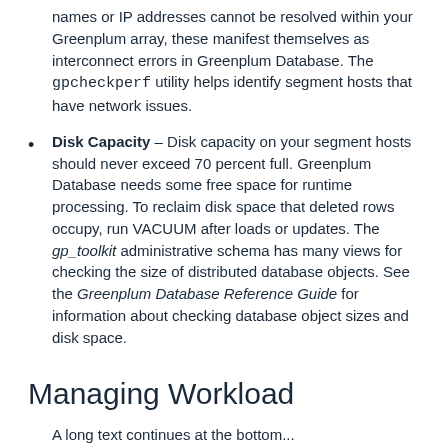names or IP addresses cannot be resolved within your Greenplum array, these manifest themselves as interconnect errors in Greenplum Database. The gpcheckperf utility helps identify segment hosts that have network issues.
Disk Capacity – Disk capacity on your segment hosts should never exceed 70 percent full. Greenplum Database needs some free space for runtime processing. To reclaim disk space that deleted rows occupy, run VACUUM after loads or updates. The gp_toolkit administrative schema has many views for checking the size of distributed database objects. See the Greenplum Database Reference Guide for information about checking database object sizes and disk space.
Managing Workload
A long text continues at the bottom...